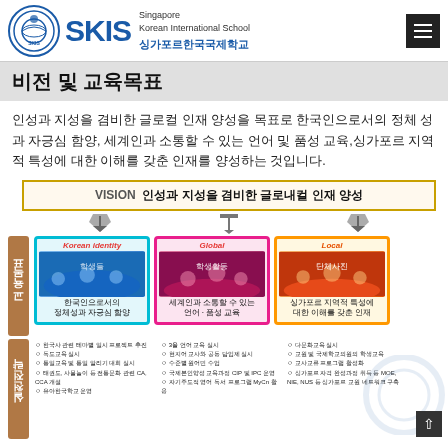SKIS Singapore Korean International School 싱가포르한국국제학교
비전 및 교육목표
인성과 지성을 겸비한 글로컬 인재 양성을 목표로 한국인으로서의 정체성과 자긍심 함양, 세계인과 소통할 수 있는 언어 및 품성 교육,싱가포르 지역적 특성에 대한 이해를 갖춘 인재를 양성하는 것입니다.
[Figure (infographic): Vision infographic showing VISION 인성과 지성을 겸비한 글로내컬 인재 양성 with three columns: Korean Identity (한국인으로서의 정체성과 자긍심 함양), Global (세계인과 소통할 수 있는 언어·품성 교육), Local (싱가포르 지역적 특성에 대한 이해를 갖춘 인재). Below shows 교육목표 and 실천전략 sections with bullet points for each column.]